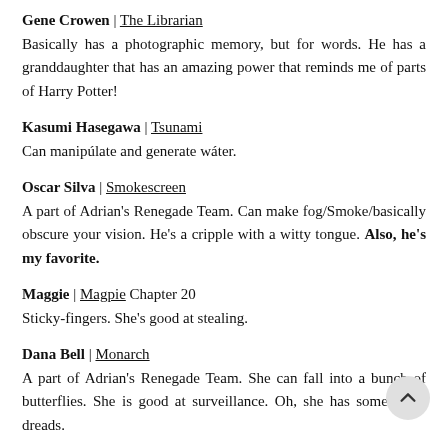Gene Crowen | The Librarian
Basically has a photographic memory, but for words. He has a granddaughter that has an amazing power that reminds me of parts of Harry Potter!
Kasumi Hasegawa | Tsunami
Can manipúlate and generate wáter.
Oscar Silva | Smokescreen
A part of Adrian's Renegade Team. Can make fog/Smoke/basically obscure your vision. He's a cripple with a witty tongue. Also, he's my favorite.
Maggie | Magpie Chapter 20
Sticky-fingers. She's good at stealing.
Dana Bell | Monarch
A part of Adrian's Renegade Team. She can fall into a bunch of butterflies. She is good at surveillance. Oh, she has some killer dreads.